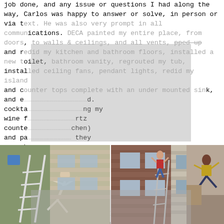job done, and any issue or questions I had along the way, Carlos was happy to answer or solve, in person or via text. He was also very prompt in all communications. DECA painted my entire place, from doors, to walls & ceilings, and all vents, tpped up and redid my kitchen and bathroom floors, installed a new toilet, bathroom vanity, regrouted my tub, installed ceiling fans, pendant lights, redid my island and counter tops complete with an under mounted sink, and e... cocktail... ng my wine f... rtz counte... chen) and pa... they ever h... or call m... lucky to hav... l of his 5... deserv... of his wo... future. If you are looking for a contractor you can trust, DECA is the place. It's the little things: The last day, as Carlos was finishing up some minor things, I was bumbling around trying to change out the locks on my front door he noticed I'm not great at anything
[Figure (photo): Three photos side by side: left photo shows a person falling off a ladder outside a house with blue bucket; center photo shows a person climbing on the side of a brick building; right photo shows a person falling off a ladder indoors.]